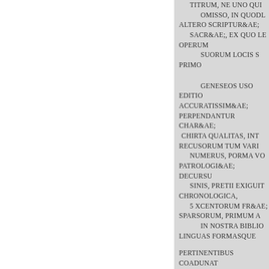TITRUM, NE UNO QUI... OMISSO, IN QUOBL... ALTERO SCRIPTURAE SACRAE, EX QUO LE... OPERUM SUORUM LOCIS S... PRIMO GENESEOS USO... EDITIO ACCURATISSIMA... PERPENDANTUR CHARA... CHIRTA QUALITAS, INT... RECUSORUM TUM VARI... NUMERUS, PORMA VO... PATROLOGIAE DECURSU... SINIS, PRETII EXIGUIT... CHRONOLOGICA, 5 XCENTORUM FRA... SPARSORUM, PRIMUM A... IN NOSTRA BIBLIO... LINGUAS FORMASQUE PERTINENTIBUS COADUNAT... SERIES LATINA